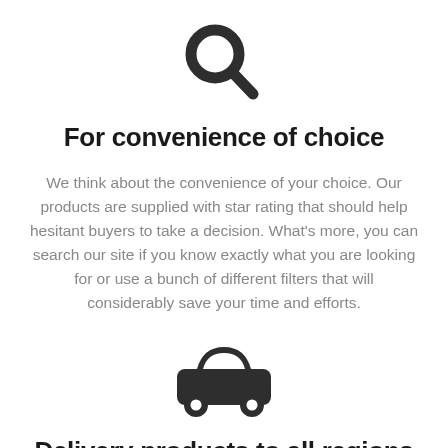[Figure (illustration): Magnifying glass / search icon, dark gray, centered at top]
For convenience of choice
We think about the convenience of your choice. Our products are supplied with star rating that should help hesitant buyers to take a decision. What's more, you can search our site if you know exactly what you are looking for or use a bunch of different filters that will considerably save your time and efforts.
[Figure (illustration): Car / automobile icon, dark gray, centered]
Delivery products to all regions